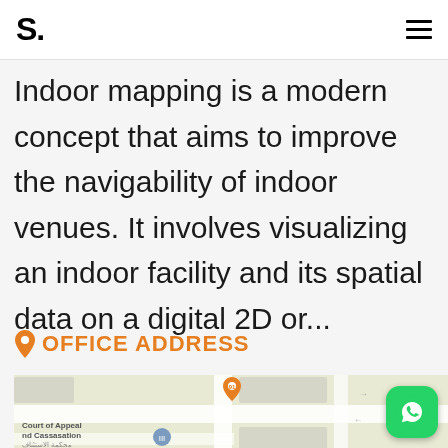S.
Indoor mapping is a modern concept that aims to improve the navigability of indoor venues. It involves visualizing an indoor facility and its spatial data on a digital 2D or...
OFFICE ADDRESS
[Figure (map): Google Maps view showing a location pin (numbered 91) near Court of Appeal and Cassasation area, with Arabic text محكمة الاستئناف والتمييز]